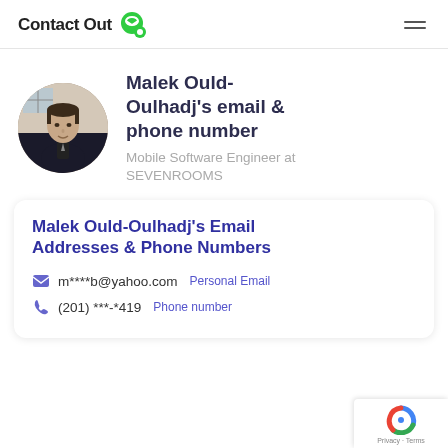ContactOut
[Figure (photo): Profile photo of Malek Ould-Oulhadj, a man in a dark suit, circular cropped]
Malek Ould-Oulhadj's email & phone number
Mobile Software Engineer at SEVENROOMS
Malek Ould-Oulhadj's Email Addresses & Phone Numbers
m****b@yahoo.com  Personal Email
(201) ***-*419  Phone number